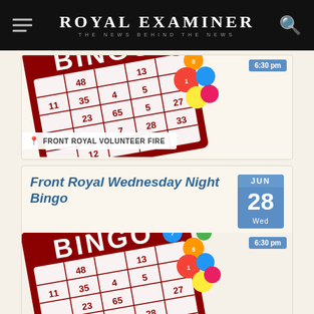Royal Examiner — The News Behind The News
[Figure (illustration): Bingo card with colorful balls, time badge 6:30 pm, location bar FRONT ROYAL VOLUNTEER FIRE — top portion of first event card]
FRONT ROYAL VOLUNTEER FIRE
Front Royal Wednesday Night Bingo
JUN 28 Wed
[Figure (illustration): Bingo card with colorful balls, time badge 6:30 pm — second event card image]